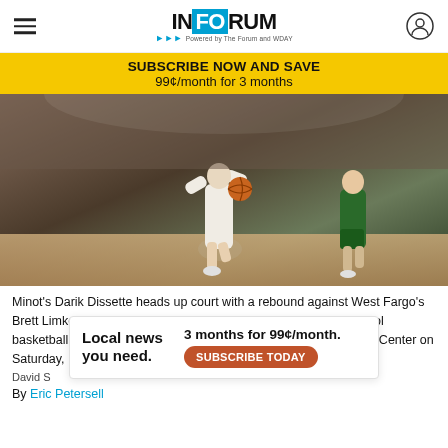INFORUM — Powered by The Forum and WDAY
SUBSCRIBE NOW AND SAVE
99¢/month for 3 months
[Figure (photo): Basketball action photo: Minot's Darik Dissette heads up court with a rebound against West Fargo's Brett Limke during the North Dakota Class A state boys high school basketball tournament championship game at the Bismarck Event Center on Saturday, March 12, 2022.]
Minot's Darik Dissette heads up court with a rebound against West Fargo's Brett Limke during the North Dakota Class A state boys high school basketball tournament championship game at the Bismarck Event Center on Saturday, March 12, 2022.
David S
By Eric Petersell
[Figure (infographic): Advertisement overlay: Local news you need. 3 months for 99¢/month. SUBSCRIBE TODAY button.]